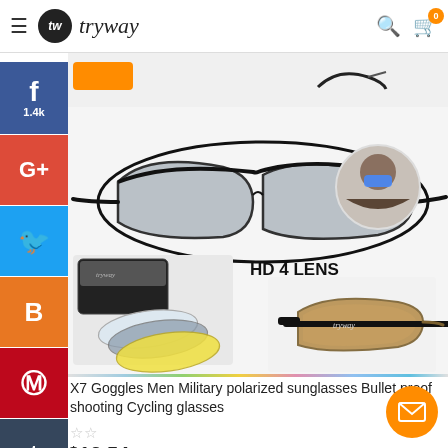tryway — navigation header with search and cart icons
[Figure (screenshot): Social media sharing sidebar buttons: Facebook (1.4k), Google+, Twitter, Blogger, Pinterest, Tumblr, more (...)]
[Figure (photo): Product photo showing tactical/military X7 goggles sunglasses with HD 4 LENS kit including case, multiple lens options (clear, smoke, yellow), and head strap. Also shows man wearing blue reflective sunglasses.]
X7 Goggles Men Military polarized sunglasses Bullet proof shooting Cycling glasses
★★☆☆☆
$12.54  $25.00